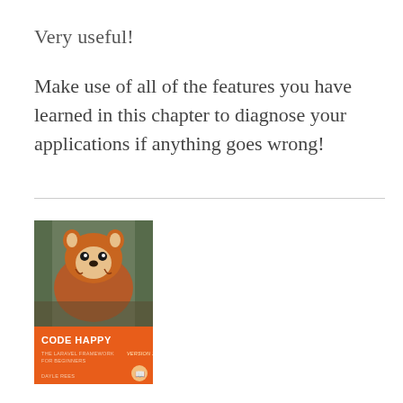Very useful!
Make use of all of the features you have learned in this chapter to diagnose your applications if anything goes wrong!
[Figure (illustration): Book cover of 'Code Happy: The Laravel Framework for Beginners' by Dayle Rees, featuring a red panda photo on top and an orange background with white text on the bottom portion.]